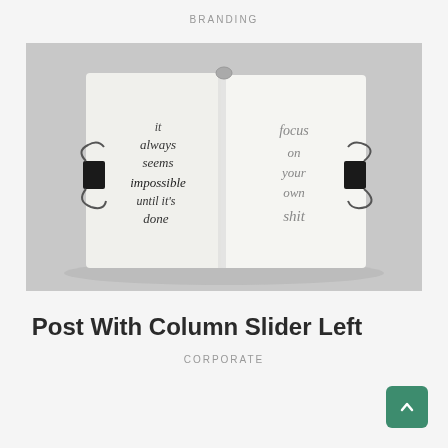BRANDING
[Figure (photo): An open notebook/journal held open with two binder clips on each side. Left page reads 'it always seems impossible until it's done' in handwritten script. Right page reads 'focus on your own shit' in handwritten script. Background is gray.]
Post With Column Slider Left
CORPORATE